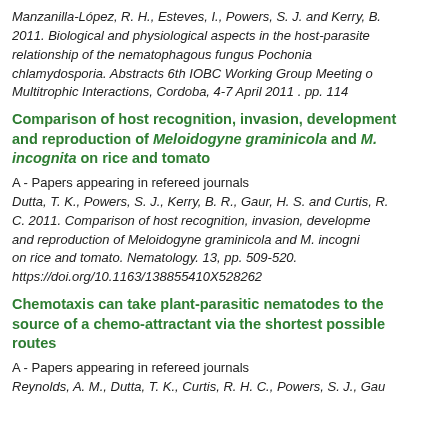Manzanilla-López, R. H., Esteves, I., Powers, S. J. and Kerry, B. 2011. Biological and physiological aspects in the host-parasite relationship of the nematophagous fungus Pochonia chlamydosporia. Abstracts 6th IOBC Working Group Meeting on Multitrophic Interactions, Cordoba, 4-7 April 2011 . pp. 114
Comparison of host recognition, invasion, development and reproduction of Meloidogyne graminicola and M. incognita on rice and tomato
A - Papers appearing in refereed journals
Dutta, T. K., Powers, S. J., Kerry, B. R., Gaur, H. S. and Curtis, R. H. C. 2011. Comparison of host recognition, invasion, development and reproduction of Meloidogyne graminicola and M. incognita on rice and tomato. Nematology. 13, pp. 509-520. https://doi.org/10.1163/138855410X528262
Chemotaxis can take plant-parasitic nematodes to the source of a chemo-attractant via the shortest possible routes
A - Papers appearing in refereed journals
Reynolds, A. M., Dutta, T. K., Curtis, R. H. C., Powers, S. J., Gaur...